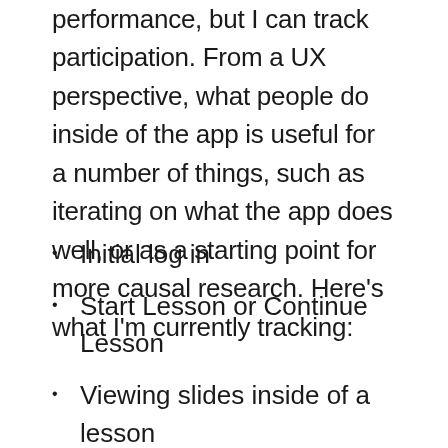performance, but I can track participation. From a UX perspective, what people do inside of the app is useful for a number of things, such as iterating on what the app does well, or as a starting point for more causal research. Here’s what I’m currently tracking:
Initial log in
Start Lesson or Continue Lesson
Viewing slides inside of a lesson
Question answered and answer chosen